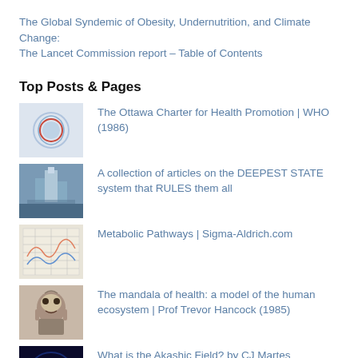The Global Syndemic of Obesity, Undernutrition, and Climate Change: The Lancet Commission report – Table of Contents
Top Posts & Pages
The Ottawa Charter for Health Promotion | WHO (1986)
A collection of articles on the DEEPEST STATE system that RULES them all
Metabolic Pathways | Sigma-Aldrich.com
The mandala of health: a model of the human ecosystem | Prof Trevor Hancock (1985)
What is the Akashic Field? by CJ Martes
"The Human Vocation: An Autobiography of Higher